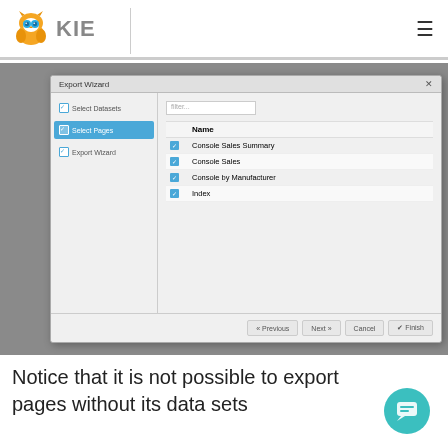[Figure (screenshot): KIE application header with owl logo and hamburger menu]
[Figure (screenshot): Export Wizard dialog showing Select Pages step with checkboxes for Console Sales Summary, Console Sales, Console by Manufacturer, and Index pages]
Notice that it is not possible to export pages without its data sets